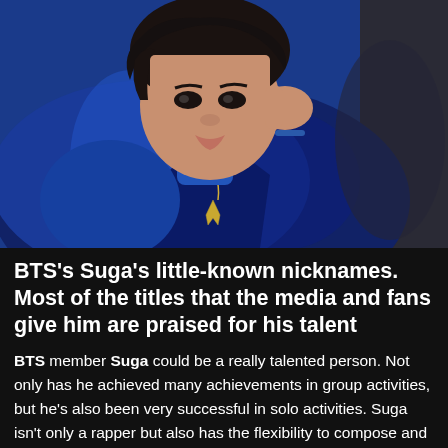[Figure (photo): Young man wearing a blue velvet jacket and gold necklace with cross pendant, resting his head on his hand, looking at the camera. Dark hair, K-pop idol style photo shoot.]
BTS's Suga's little-known nicknames. Most of the titles that the media and fans give him are praised for his talent
BTS member Suga could be a really talented person. Not only has he achieved many achievements in group activities, but he's also been very successful in solo activities. Suga isn't only a rapper but also has the flexibility to compose and produce music. For this reason,